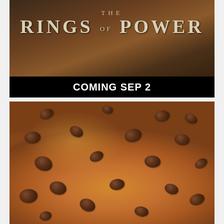[Figure (photo): The Lord of the Rings: The Rings of Power promotional banner with text 'THE RINGS OF POWER' and 'COMING SEP 2' on a black bar, dark dramatic background]
[Figure (photo): Close-up photo of a large chocolate chip cookie or cookie cake with many melted chocolate chips on top, golden brown baked surface]